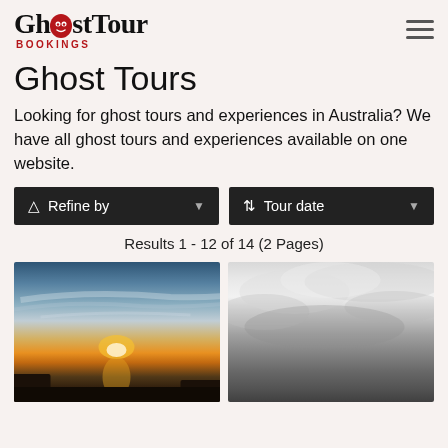GhostTour BOOKINGS
Ghost Tours
Looking for ghost tours and experiences in Australia? We have all ghost tours and experiences available on one website.
Refine by | Tour date
Results 1 - 12 of 14 (2 Pages)
[Figure (photo): Sunset over a lake or bay with dramatic cloud streaks and golden light reflecting on water, silhouetted trees in foreground]
[Figure (photo): Grayscale dramatic cloudy sky with heavy overcast clouds, moody and dark atmosphere]